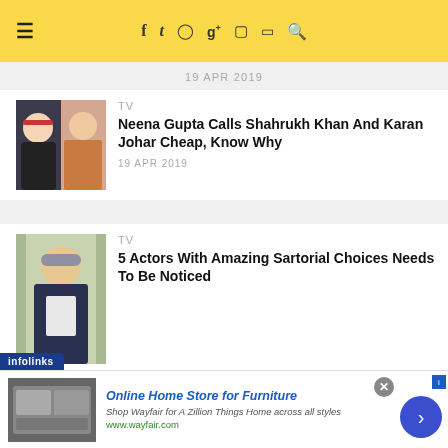≡ f t pinterest g+ instagram youtube search
19 APR 2019
[Figure (photo): Photo of Karan Johar and Deepika Padukone]
TV
Neena Gupta Calls Shahrukh Khan And Karan Johar Cheap, Know Why
19 APR 2019
[Figure (photo): Photo of a male actor in casual wear]
TV
5 Actors With Amazing Sartorial Choices Needs To Be Noticed
infolinks
Online Home Store for Furniture
Shop Wayfair for A Zillion Things Home across all styles
www.wayfair.com